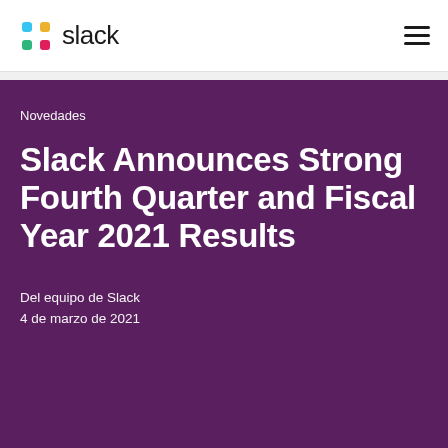slack
Novedades
Slack Announces Strong Fourth Quarter and Fiscal Year 2021 Results
Del equipo de Slack
4 de marzo de 2021